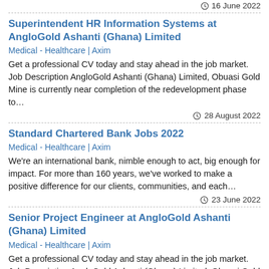16 June 2022
Superintendent HR Information Systems at AngloGold Ashanti (Ghana) Limited
Medical - Healthcare | Axim
Get a professional CV today and stay ahead in the job market. Job Description AngloGold Ashanti (Ghana) Limited, Obuasi Gold Mine is currently near completion of the redevelopment phase to…
28 August 2022
Standard Chartered Bank Jobs 2022
Medical - Healthcare | Axim
We're an international bank, nimble enough to act, big enough for impact. For more than 160 years, we've worked to make a positive difference for our clients, communities, and each…
23 June 2022
Senior Project Engineer at AngloGold Ashanti (Ghana) Limited
Medical - Healthcare | Axim
Get a professional CV today and stay ahead in the job market. Job Description AngloGold Ashanti (Ghana) Limited, Obuasi Gold Mine is currently near completion of the…